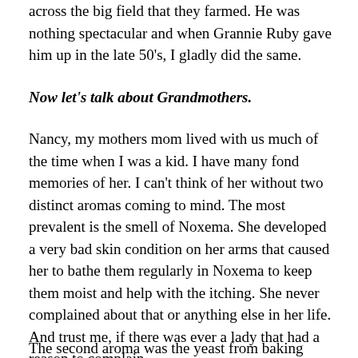across the big field that they farmed. He was nothing spectacular and when Grannie Ruby gave him up in the late 50's, I gladly did the same.
Now let's talk about Grandmothers.
Nancy, my mothers mom lived with us much of the time when I was a kid. I have many fond memories of her. I can't think of her without two distinct aromas coming to mind. The most prevalent is the smell of Noxema. She developed a very bad skin condition on her arms that caused her to bathe them regularly in Noxema to keep them moist and help with the itching. She never complained about that or anything else in her life. And trust me, if there was ever a lady that had a reason to complain.....
The second aroma was the yeast from baking bread. Often when I'd smell it, I'd run down the...